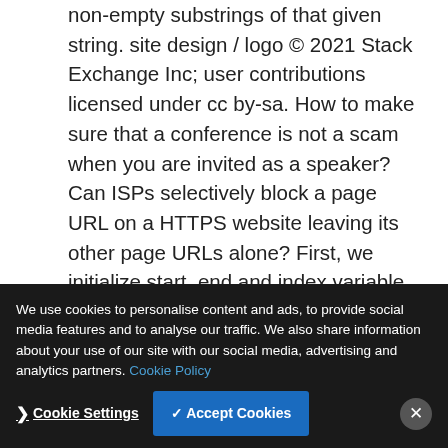non-empty substrings of that given string. site design / logo © 2021 Stack Exchange Inc; user contributions licensed under cc by-sa. How to make sure that a conference is not a scam when you are invited as a speaker? Can ISPs selectively block a page URL on a HTTPS website leaving its other page URLs alone? First, we initialize start, end and index variable with 0, length of string and 0 respectively. Better user experience while having a small amount of content to show. Substring in Python... How do I get a substring of a string in Python?
We use cookies to personalise content and ads, to provide social media features and to analyse our traffic. We also share information about your use of our site with our social media, advertising and analytics partners. Cookie Policy
str.find() returns the lowest index in the string where the substring sub ... slice s[start:end]. what you want to do is not